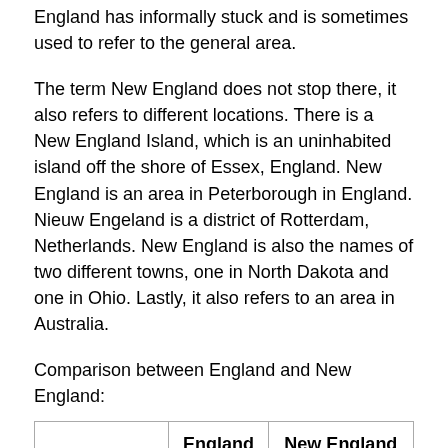England has informally stuck and is sometimes used to refer to the general area.
The term New England does not stop there, it also refers to different locations. There is a New England Island, which is an uninhabited island off the shore of Essex, England. New England is an area in Peterborough in England. Nieuw Engeland is a district of Rotterdam, Netherlands. New England is also the names of two different towns, one in North Dakota and one in Ohio. Lastly, it also refers to an area in Australia.
Comparison between England and New England:
|  | England | New England |
| --- | --- | --- |
| Establishment | 927 A.D. | 1620 |